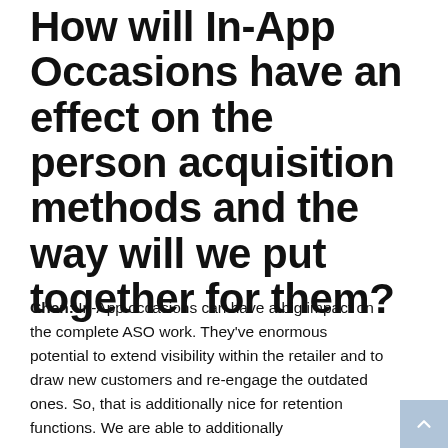How will In-App Occasions have an effect on the person acquisition methods and the way will we put together for them?
Chen: In-App occasions can have a big impact on the complete ASO work. They've enormous potential to extend visibility within the retailer and to draw new customers and re-engage the outdated ones. So, that is additionally nice for retention functions. We are able to additionally